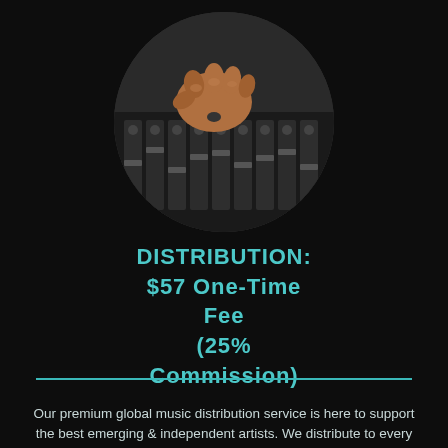[Figure (photo): Circular cropped photo of a person's hand adjusting knobs on a professional audio mixing console/soundboard, close-up shot with blurred background.]
DISTRIBUTION: $57 One-Time Fee (25% Commission)
Our premium global music distribution service is here to support the best emerging & independent artists. We distribute to every major DSP and digital store around the world. You keep 75% of your revenue along with the freedom to